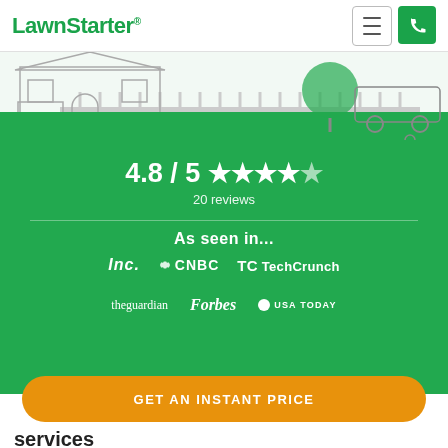LawnStarter
[Figure (illustration): Line illustration of a suburban house with a white picket fence, a tree, and a lawn care truck with a person mowing]
4.8 / 5 ★★★★★ 20 reviews
As seen in...
[Figure (logo): Media logos: Inc., CNBC, TechCrunch, theguardian, Forbes, USA TODAY]
GET AN INSTANT PRICE
services